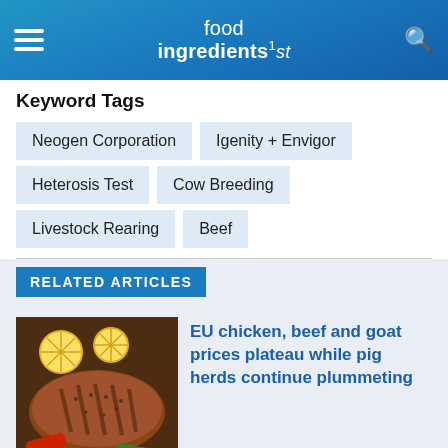food ingredients 1st
Keyword Tags
Neogen Corporation
Igenity + Envigor
Heterosis Test
Cow Breeding
Livestock Rearing
Beef
RELATED ARTICLES
[Figure (photo): Grilled seasoned fish fillet with lemon slices and colorful vegetables]
EU chicken, beef and goat prices plateau while pig herds continue plummeting